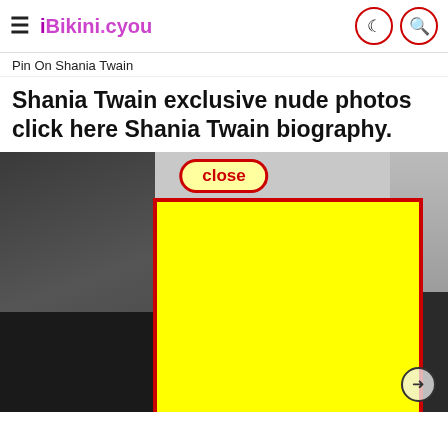iBikini.cyou — Pin On Shania Twain
Shania Twain exclusive nude photos click here Shania Twain biography.
[Figure (screenshot): Webpage screenshot showing a photo partially obscured by a large yellow rectangle with red border and a 'close' button popup overlay. The background shows a person in dark clothing.]